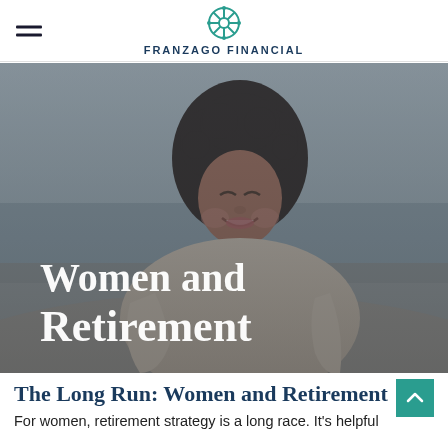FRANZAGO FINANCIAL
[Figure (photo): Smiling middle-aged Black woman with curly hair outdoors with a blurred beach/water background. Overlay text reads 'Women and Retirement' in bold white serif font.]
The Long Run: Women and Retirement
For women, retirement strategy is a long race. It's helpful